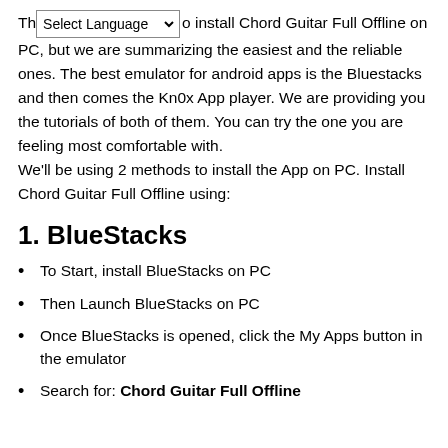There are many ways to install Chord Guitar Full Offline on PC, but we are summarizing the easiest and the reliable ones. The best emulator for android apps is the Bluestacks and then comes the Kn0x App player. We are providing you the tutorials of both of them. You can try the one you are feeling most comfortable with. We'll be using 2 methods to install the App on PC. Install Chord Guitar Full Offline using:
1. BlueStacks
To Start, install BlueStacks on PC
Then Launch BlueStacks on PC
Once BlueStacks is opened, click the My Apps button in the emulator
Search for: Chord Guitar Full Offline